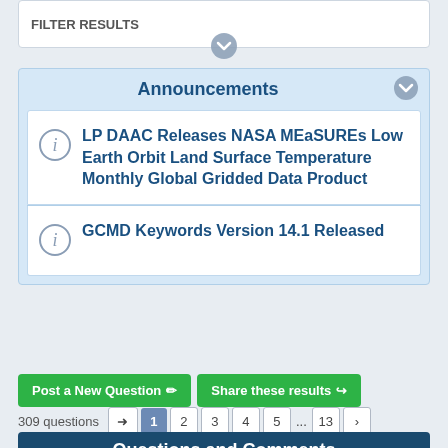FILTER RESULTS
Announcements
LP DAAC Releases NASA MEaSUREs Low Earth Orbit Land Surface Temperature Monthly Global Gridded Data Product
GCMD Keywords Version 14.1 Released
Post a New Question ✏  Share these results ↪
309 questions  ➜  1  2  3  4  5  ...  13  >
Questions and Comments